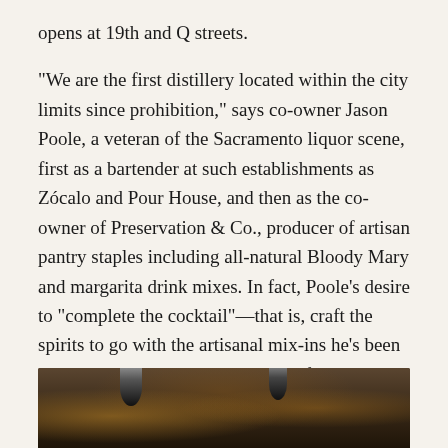opens at 19th and Q streets.
"We are the first distillery located within the city limits since prohibition," says co-owner Jason Poole, a veteran of the Sacramento liquor scene, first as a bartender at such establishments as Zócalo and Pour House, and then as the co-owner of Preservation & Co., producer of artisan pantry staples including all-natural Bloody Mary and margarita drink mixes. In fact, Poole's desire to "complete the cocktail"—that is, craft the spirits to go with the artisanal mix-ins he's been making since 2011—is the driving force behind this new venture.
[Figure (photo): Dark interior photo of what appears to be a bar or distillery space with pendant lamps visible against a dark background]